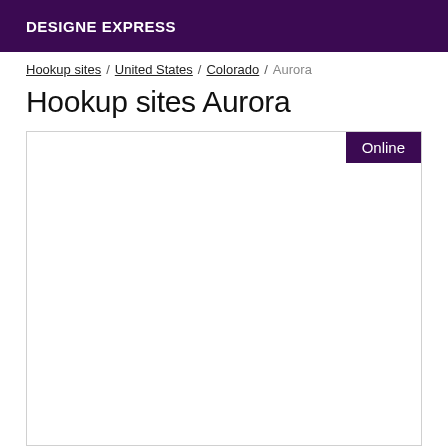DESIGNE EXPRESS
Hookup sites / United States / Colorado / Aurora
Hookup sites Aurora
[Figure (other): User profile card area with an Online badge in the top right corner, card content area is blank/white]